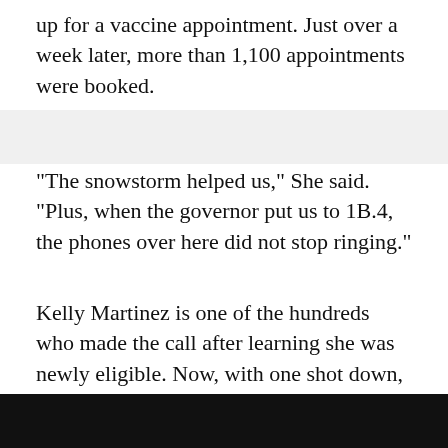up for a vaccine appointment. Just over a week later, more than 1,100 appointments were booked.
"The snowstorm helped us," She said. "Plus, when the governor put us to 1B.4, the phones over here did not stop ringing."
Kelly Martinez is one of the hundreds who made the call after learning she was newly eligible. Now, with one shot down, she'll feel safer working at the Farmer's Inn in LaSalle, a restaurant her family has owned for decades.